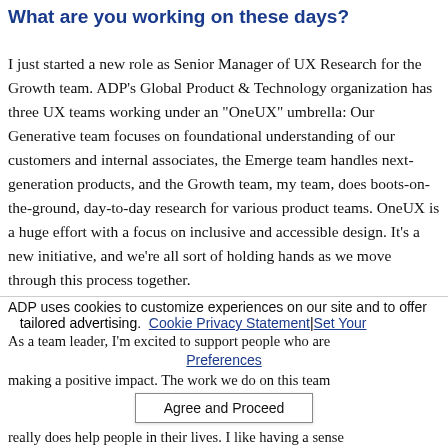What are you working on these days?
I just started a new role as Senior Manager of UX Research for the Growth team. ADP's Global Product & Technology organization has three UX teams working under an "OneUX" umbrella: Our Generative team focuses on foundational understanding of our customers and internal associates, the Emerge team handles next-generation products, and the Growth team, my team, does boots-on-the-ground, day-to-day research for various product teams. OneUX is a huge effort with a focus on inclusive and accessible design. It's a new initiative, and we're all sort of holding hands as we move through this process together.
ADP uses cookies to customize experiences on our site and to offer tailored advertising. Cookie Privacy Statement | Set Your Preferences
Agree and Proceed
As a team leader, I'm excited to support people who are making a positive impact. The work we do on this team really does help people in their lives. I like having a sense